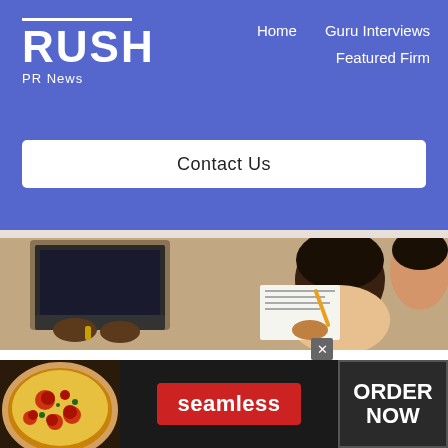RUSH PR News — Home | Guru Interviews | Featured Firm | Contact Us
[Figure (photo): Overhead view of two people working at a table with laptops and papers]
7 Marketing Ideas To Get Your Small Business Through A Slump
Slumps are a normal part of the business. They usually happen when you're not performing as
[Figure (infographic): Seamless food delivery advertisement banner with pizza photo, seamless logo in red, and ORDER NOW button]